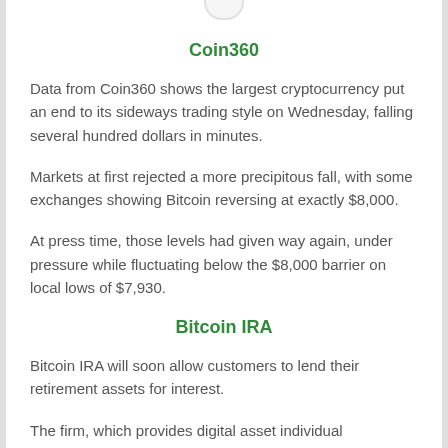Coin360
Data from Coin360 shows the largest cryptocurrency put an end to its sideways trading style on Wednesday, falling several hundred dollars in minutes.
Markets at first rejected a more precipitous fall, with some exchanges showing Bitcoin reversing at exactly $8,000.
At press time, those levels had given way again, under pressure while fluctuating below the $8,000 barrier on local lows of $7,930.
Bitcoin IRA
Bitcoin IRA will soon allow customers to lend their retirement assets for interest.
The firm, which provides digital asset individual